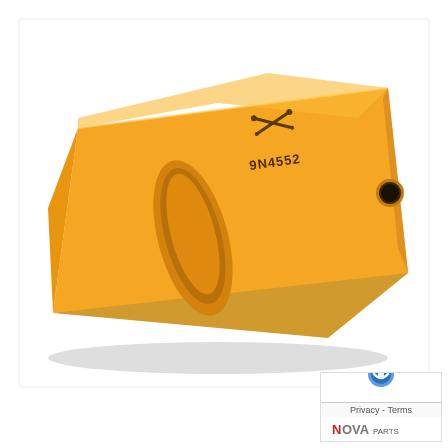[Figure (photo): Yellow excavator bucket tooth/tip, model 9N4552, with a pointed tip tapering to the right, a recessed oval slot on the top face, a circular hole on the right side face, and a brand logo embossed near the top. The part is bright orange-yellow with a smooth painted finish and sits on a white background with a subtle drop shadow.]
[Figure (logo): Bottom-right corner inset showing a reCAPTCHA icon (blue shield with arrow) above a 'Privacy - Terms' link bar, with the NOVA company logo below in red and blue.]